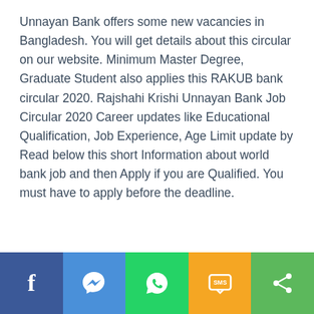Unnayan Bank offers some new vacancies in Bangladesh. You will get details about this circular on our website. Minimum Master Degree, Graduate Student also applies this RAKUB bank circular 2020. Rajshahi Krishi Unnayan Bank Job Circular 2020 Career updates like Educational Qualification, Job Experience, Age Limit update by Read below this short Information about world bank job and then Apply if you are Qualified. You must have to apply before the deadline.
[Figure (infographic): Social share bar at the bottom with five buttons: Facebook (dark blue), Messenger (light blue), WhatsApp (green), SMS (orange/yellow), Share (light green)]